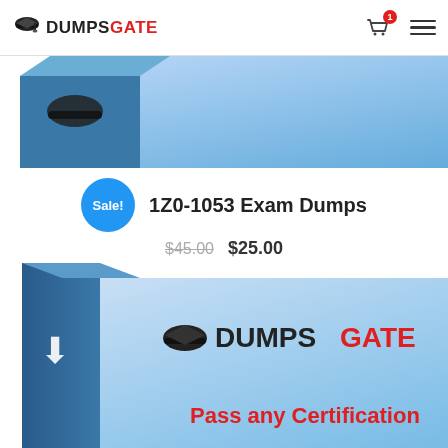DumpsGate — Cart (1) — Menu
[Figure (screenshot): Partial product box image at top showing blue box with PDF label and graduation cap icon]
1Z0-1053 Exam Dumps
Sale! $45.00 $25.00
[Figure (screenshot): DumpsGate product box with logo, download icon, and 'Pass any Certification' text in red]